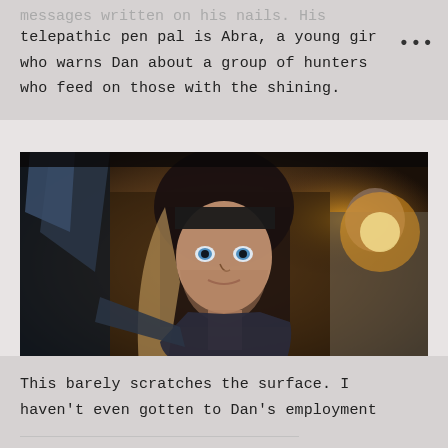messages written on his nails. His telepathic pen pal is Abra, a young girl who warns Dan about a group of hunters who feed on those with the shining.
[Figure (photo): A dark, dramatic movie still showing a young woman with dark hair and striking eyes looking directly at the camera with a surprised or fearful expression, surrounded by people in a dim, warmly lit setting.]
This barely scratches the surface. I haven't even gotten to Dan's employment...